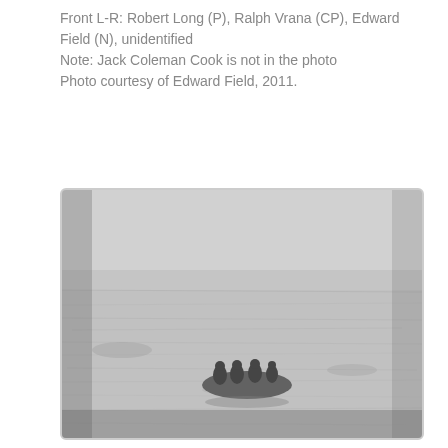Front L-R: Robert Long (P), Ralph Vrana (CP), Edward Field (N), unidentified
Note: Jack Coleman Cook is not in the photo
Photo courtesy of Edward Field, 2011.
[Figure (photo): Black and white photograph showing a small inflatable raft with several people on it, floating on open water. The water surface is slightly choppy. The image is grainy and low contrast.]